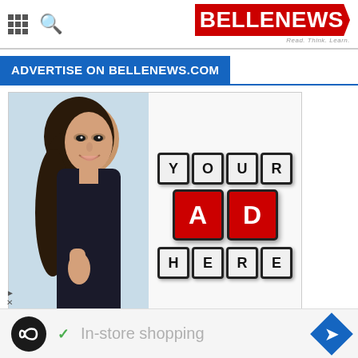BELLENEWS - Read. Think. Learn.
ADVERTISE ON BELLENEWS.COM
[Figure (photo): Advertisement placeholder image showing a woman peeking around a sign with 'YOUR AD HERE' letter blocks. The text blocks spell out YOUR in black/white, AD in red/white, and HERE in black/white.]
In-store shopping